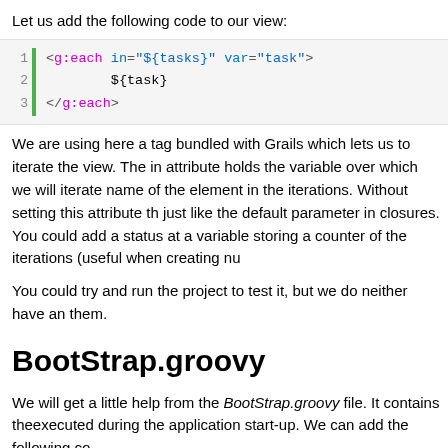Let us add the following code to our view:
[Figure (screenshot): Code block showing GSP each tag: <g:each in="${tasks}" var="task">, ${task}, </g:each>]
We are using here a tag bundled with Grails which lets us to iterate the view. The in attribute holds the variable over which we will iterate, name of the element in the iterations. Without setting this attribute, just like the default parameter in closures. You could add a status attribute a variable storing a counter of the iterations (useful when creating numbered lists).
You could try and run the project to test it, but we do neither have any tasks, nor a way to add them.
BootStrap.groovy
We will get a little help from the BootStrap.groovy file. It contains the code that will be executed during the application start-up. We can add the following code:
[Figure (screenshot): Code block showing: new Task(subject:"Pranie", priority:1, dueDate:..., completed:false).save()]